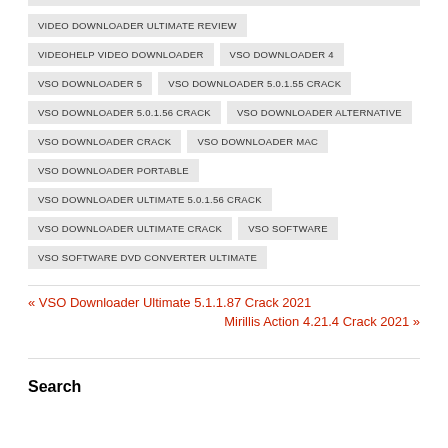VIDEO DOWNLOADER ULTIMATE REVIEW
VIDEOHELP VIDEO DOWNLOADER
VSO DOWNLOADER 4
VSO DOWNLOADER 5
VSO DOWNLOADER 5.0.1.55 CRACK
VSO DOWNLOADER 5.0.1.56 CRACK
VSO DOWNLOADER ALTERNATIVE
VSO DOWNLOADER CRACK
VSO DOWNLOADER MAC
VSO DOWNLOADER PORTABLE
VSO DOWNLOADER ULTIMATE 5.0.1.56 CRACK
VSO DOWNLOADER ULTIMATE CRACK
VSO SOFTWARE
VSO SOFTWARE DVD CONVERTER ULTIMATE
« VSO Downloader Ultimate 5.1.1.87 Crack 2021
Mirillis Action 4.21.4 Crack 2021 »
Search